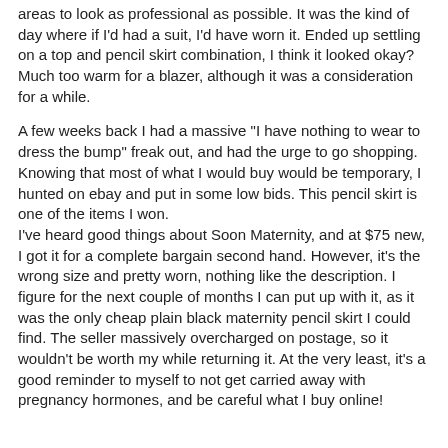areas to look as professional as possible. It was the kind of day where if I'd had a suit, I'd have worn it. Ended up settling on a top and pencil skirt combination, I think it looked okay? Much too warm for a blazer, although it was a consideration for a while.
A few weeks back I had a massive "I have nothing to wear to dress the bump" freak out, and had the urge to go shopping. Knowing that most of what I would buy would be temporary, I hunted on ebay and put in some low bids. This pencil skirt is one of the items I won. I've heard good things about Soon Maternity, and at $75 new, I got it for a complete bargain second hand. However, it's the wrong size and pretty worn, nothing like the description. I figure for the next couple of months I can put up with it, as it was the only cheap plain black maternity pencil skirt I could find. The seller massively overcharged on postage, so it wouldn't be worth my while returning it. At the very least, it's a good reminder to myself to not get carried away with pregnancy hormones, and be careful what I buy online!